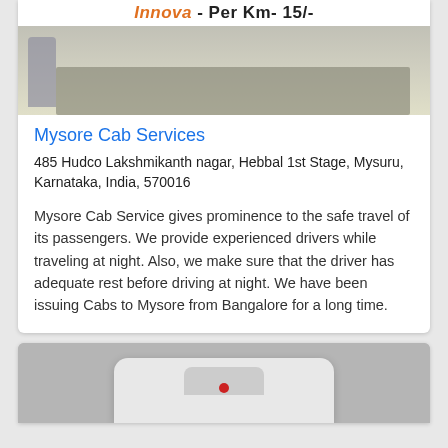[Figure (photo): Partial image of a car (Toyota Innova) with text banner 'Innova - Per Km- 15/-']
Mysore Cab Services
485 Hudco Lakshmikanth nagar, Hebbal 1st Stage, Mysuru, Karnataka, India, 570016
Mysore Cab Service gives prominence to the safe travel of its passengers. We provide experienced drivers while traveling at night. Also, we make sure that the driver has adequate rest before driving at night. We have been issuing Cabs to Mysore from Bangalore for a long time.
[Figure (photo): Partial image of a white car (top/rear view) on a grey background]